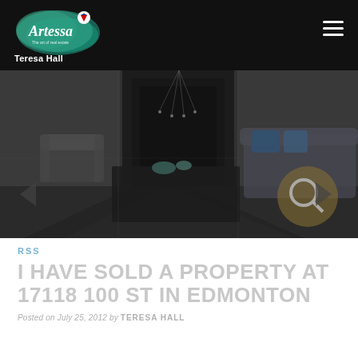Teresa Hall
[Figure (photo): Dark interior living room with modern furniture, fireplace with black marble, grey armchair, sofa with blue pillows, and geometric rug]
RSS
I HAVE SOLD A PROPERTY AT 17118 100 ST IN EDMONTON
Posted on July 25, 2012 by TERESA HALL